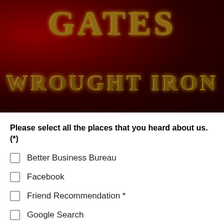[Figure (logo): Dark red/maroon gradient background with decorative gold metallic text reading 'GATES' in large serif font at top, and 'WROUGHT IRON' in gold serif font below]
Please select all the places that you heard about us. (*)
Better Business Bureau
Facebook
Friend Recommendation *
Google Search